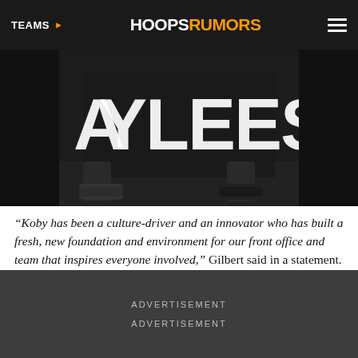TEAMS  HOOPSRUMORS
[Figure (photo): Photo of a person holding or wearing a dark jersey with large white lettering 'AYLEES' or similar, showing legs and shoes on a basketball court floor.]
“Koby has been a culture-driver and an innovator who has built a fresh, new foundation and environment for our front office and team that inspires everyone involved,” Gilbert said in a statement. “He is a passionate leader who is executing a very dynamic, strategic plan for the future of the team and our vision for growth and success.”
ADVERTISEMENT
ADVERTISEMENT